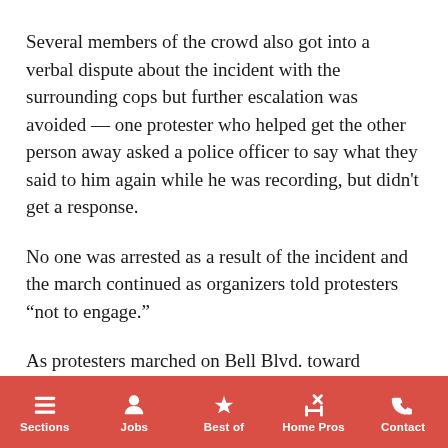Several members of the crowd also got into a verbal dispute about the incident with the surrounding cops but further escalation was avoided — one protester who helped get the other person away asked a police officer to say what they said to him again while he was recording, but didn't get a response.
No one was arrested as a result of the incident and the march continued as organizers told protesters “not to engage.”
As protesters marched on Bell Blvd. toward Crocheron Park, some people taking advantage of outdoor dining in the neighborhood held up their fists in solidarity with the
Sections  Jobs  Best of  Home Pros  Contact